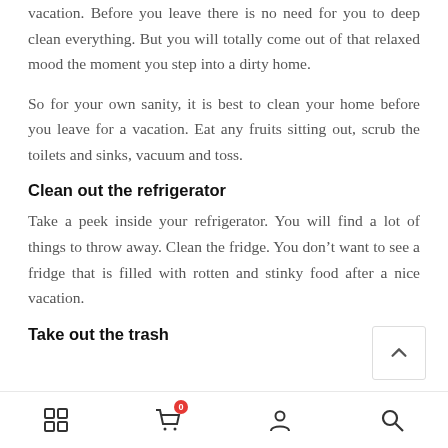vacation. Before you leave there is no need for you to deep clean everything. But you will totally come out of that relaxed mood the moment you step into a dirty home.
So for your own sanity, it is best to clean your home before you leave for a vacation. Eat any fruits sitting out, scrub the toilets and sinks, vacuum and toss.
Clean out the refrigerator
Take a peek inside your refrigerator. You will find a lot of things to throw away. Clean the fridge. You don’t want to see a fridge that is filled with rotten and stinky food after a nice vacation.
Take out the trash